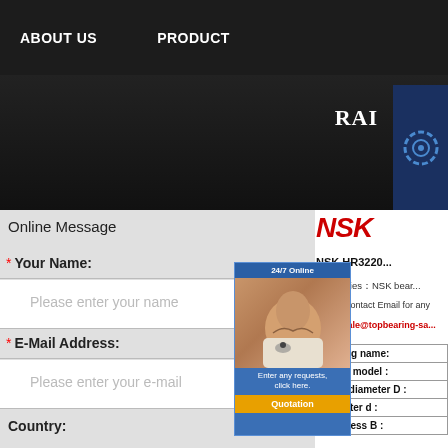ABOUT US   PRODUCT
Online Message
* Your Name:
Please enter your name
* E-Mail Address:
Please enter your e-mail
Country:
NSK HR3220...
Categories：NSK bear...
Please contact Email for any inqu...
EMAIl: sale@topbearing-sa...
| bearing name: |
| Brand model : |
| outer diameter D : |
| diameter d : |
| thickness B : |